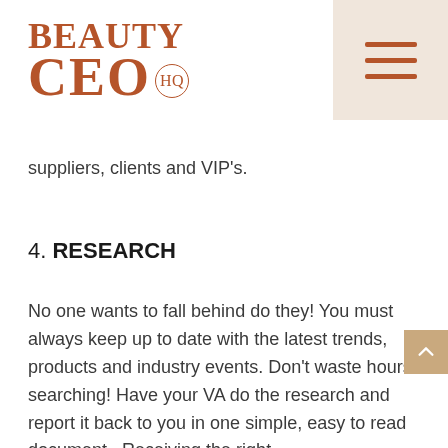BEAUTY CEO HQ
suppliers, clients and VIP's.
4. RESEARCH
No one wants to fall behind do they! You must always keep up to date with the latest trends, products and industry events. Don't waste hours searching! Have your VA do the research and report it back to you in one simple, easy to read document.  Receiving the right